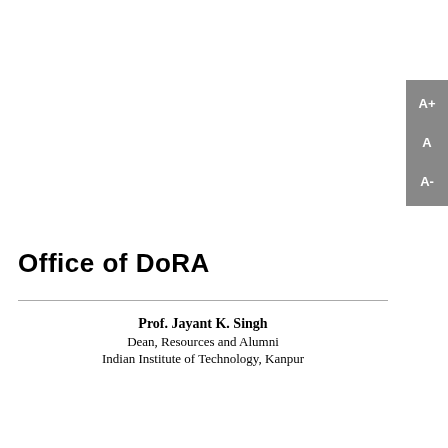[Figure (other): Sidebar UI element with font size controls: A+, A, A-]
Office of DoRA
Prof. Jayant K. Singh
Dean, Resources and Alumni
Indian Institute of Technology, Kanpur